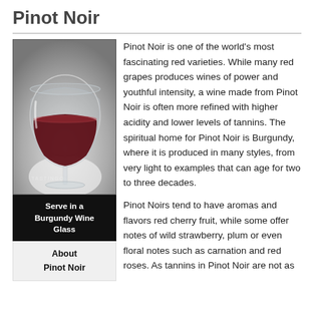Pinot Noir
[Figure (photo): A wine glass filled with red Pinot Noir wine on a grey background, with text caption 'Serve in a Burgundy Wine Glass' below in white on black, and 'About Pinot Noir' in bold below that on a light grey background.]
Pinot Noir is one of the world's most fascinating red varieties. While many red grapes produces wines of power and youthful intensity, a wine made from Pinot Noir is often more refined with higher acidity and lower levels of tannins. The spiritual home for Pinot Noir is Burgundy, where it is produced in many styles, from very light to examples that can age for two to three decades.
Pinot Noirs tend to have aromas and flavors red cherry fruit, while some offer notes of wild strawberry, plum or even floral notes such as carnation and red roses. As tannins in Pinot Noir are not as